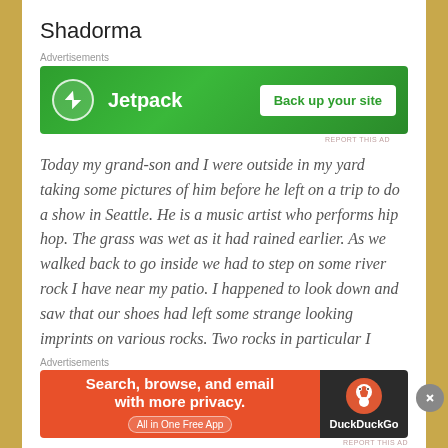Shadorma
[Figure (screenshot): Jetpack advertisement banner: green background with Jetpack logo and 'Back up your site' button]
Today my grand-son and I were outside in my yard taking some pictures of him before he left on a trip to do a show in Seattle. He is a music artist who performs hip hop. The grass was wet as it had rained earlier. As we walked back to go inside we had to step on some river rock I have near my patio. I happened to look down and saw that our shoes had left some strange looking imprints on various rocks. Two rocks in particular I noticed as looking like having
[Figure (screenshot): DuckDuckGo advertisement banner: orange section with 'Search, browse, and email with more privacy. All in One Free App' and DuckDuckGo logo on dark background]